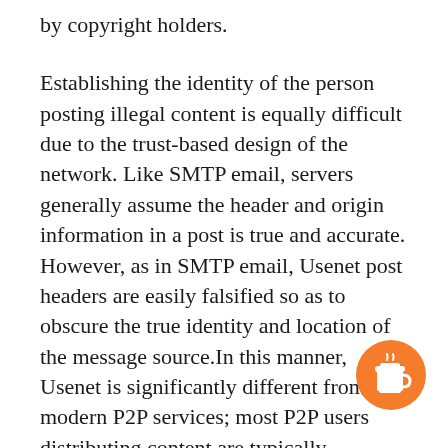by copyright holders.
Establishing the identity of the person posting illegal content is equally difficult due to the trust-based design of the network. Like SMTP email, servers generally assume the header and origin information in a post is true and accurate. However, as in SMTP email, Usenet post headers are easily falsified so as to obscure the true identity and location of the message source.In this manner, Usenet is significantly different from modern P2P services; most P2P users distributing content are typically immediately identifiable to all other users by their network address, but the origin information for a Usenet posting can be
[Figure (illustration): Orange circular button with a coffee cup icon in the bottom right corner]